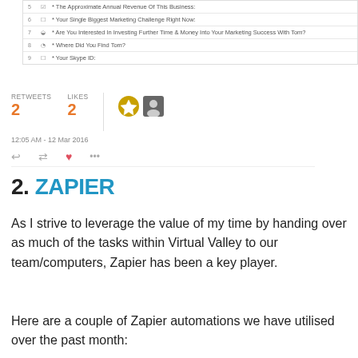[Figure (screenshot): Screenshot of a form builder interface showing rows 5-9 with fields: The Approximate Annual Revenue Of This Business, Your Single Biggest Marketing Challenge Right Now, Are You Interested In Investing Further Time & Money Into Your Marketing Success With Tom?, Where Did You Find Tom?, Your Skype ID:]
[Figure (screenshot): Tweet engagement panel showing RETWEETS: 2, LIKES: 2, two avatar icons, timestamp 12:05 AM - 12 Mar 2016, and action icons for reply, retweet, like, and more]
2. ZAPIER
As I strive to leverage the value of my time by handing over as much of the tasks within Virtual Valley to our team/computers, Zapier has been a key player.
Here are a couple of Zapier automations we have utilised over the past month: